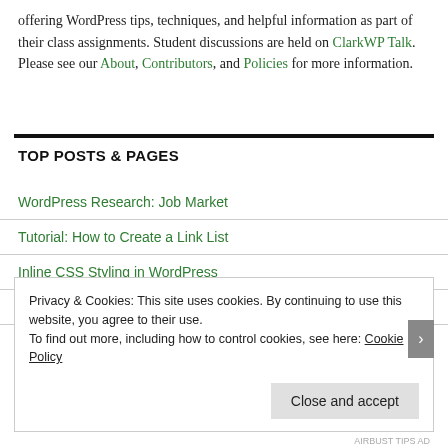offering WordPress tips, techniques, and helpful information as part of their class assignments. Student discussions are held on ClarkWP Talk. Please see our About, Contributors, and Policies for more information.
TOP POSTS & PAGES
WordPress Research: Job Market
Tutorial: How to Create a Link List
Inline CSS Styling in WordPress
Interview With Daniel Portis-Cathers: Composer/Producer
Privacy & Cookies: This site uses cookies. By continuing to use this website, you agree to their use. To find out more, including how to control cookies, see here: Cookie Policy
Close and accept